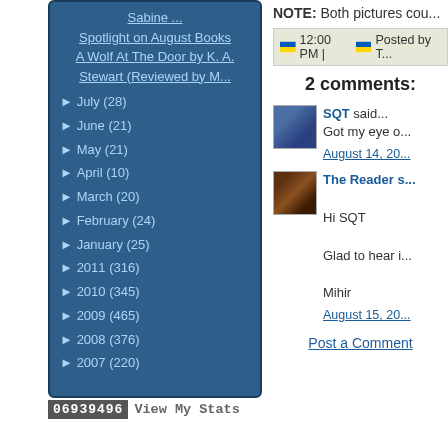Sabine ...
Spotlight on August Books
A Wolf At The Door by K. A. Stewart (Reviewed by M...
► July (28)
► June (21)
► May (21)
► April (10)
► March (20)
► February (24)
► January (25)
► 2011 (316)
► 2010 (345)
► 2009 (465)
► 2008 (376)
► 2007 (220)
06939496  View My Stats
NOTE: Both pictures cou...
12:00 PM | Posted by T...
2 comments:
SQT said... Got my eye o... August 14, 20...
The Reader s... Hi SQT Glad to hear i... Mihir August 15, 20...
Post a Comment